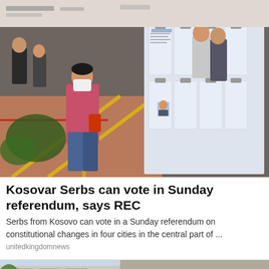[Figure (photo): Indoor scene showing a woman in a pink turtleneck and jeans wearing a white face mask, walking past a row of ballot boards/clipboards with candidate information hung on display at what appears to be a Hong Kong polling or registration station. Other people are visible in the background.]
Kosovar Serbs can vote in Sunday referendum, says REC
Serbs from Kosovo can vote in a Sunday referendum on constitutional changes in four cities in the central part of ...
unitedkingdomnews
[Figure (photo): Partial view of a construction or renovation scene with a person wearing an orange hard hat visible at the bottom of the image.]